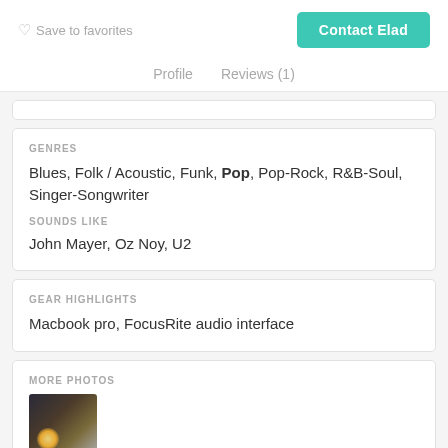♡ Save to favorites
Contact Elad
Profile   Reviews (1)
GENRES
Blues, Folk / Acoustic, Funk, Pop, Pop-Rock, R&B-Soul, Singer-Songwriter
SOUNDS LIKE
John Mayer, Oz Noy, U2
GEAR HIGHLIGHTS
Macbook pro, FocusRite audio interface
MORE PHOTOS
[Figure (photo): Small thumbnail photo showing a stage or concert scene with a warm light/glow]